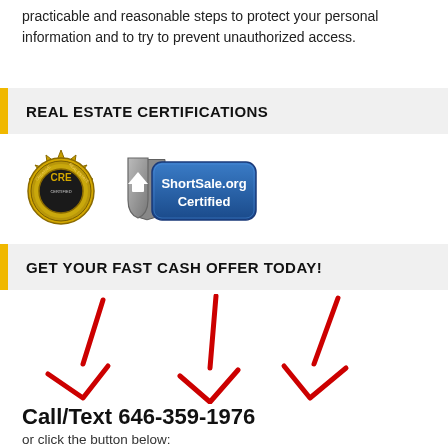practicable and reasonable steps to protect your personal information and to try to prevent unauthorized access.
REAL ESTATE CERTIFICATIONS
[Figure (logo): Two certification logos: CRE (Creative Real Estate) gold seal badge and ShortSale.org Certified shield badge]
GET YOUR FAST CASH OFFER TODAY!
[Figure (illustration): Three large red downward-pointing arrows drawn in a hand-drawn style]
Call/Text 646-359-1976
or click the button below: